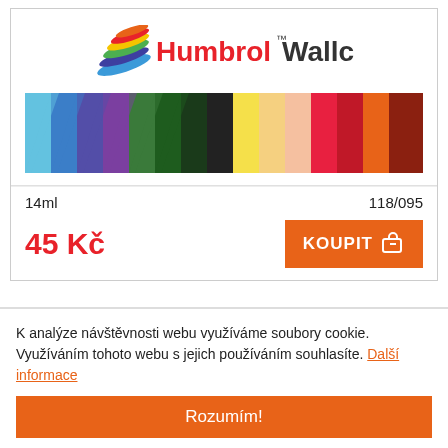[Figure (logo): Humbrol Wallchart logo with multicolored swoosh/brush graphic and color strip showing many paint colors]
14ml
118/095
45 Kč
KOUPIT
Humbrol barva email AA0036 - No 36 Pastel Green - Matt -
K analýze návštěvnosti webu využíváme soubory cookie. Využíváním tohoto webu s jejich používáním souhlasíte. Další informace
Rozumím!